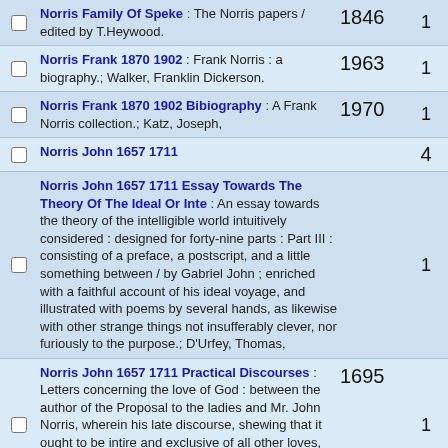Norris Family Of Speke : The Norris papers / edited by T.Heywood. | 1846 | 1
Norris Frank 1870 1902 : Frank Norris : a biography.; Walker, Franklin Dickerson. | 1963 | 1
Norris Frank 1870 1902 Bibiography : A Frank Norris collection.; Katz, Joseph, | 1970 | 1
Norris John 1657 1711 | | 4
Norris John 1657 1711 Essay Towards The Theory Of The Ideal Or Inte : An essay towards the theory of the intelligible world intuitively considered : designed for forty-nine parts : Part III : consisting of a preface, a postscript, and a little something between / by Gabriel John ; enriched with a faithful account of his ideal voyage, and illustrated with poems by several hands, as likewise with other strange things not insufferably clever, nor furiously to the purpose.; D'Urfey, Thomas, | | 1
Norris John 1657 1711 Practical Discourses : Letters concerning the love of God : between the author of the Proposal to the ladies and Mr. John Norris, wherein his late discourse, shewing that it ought to be intire and exclusive of all other loves, is further cleared and justified / published by J. Norris.; Norris, John, | 1695 | 1
Norris John 1657 1711 Reflections Upon The | | 2